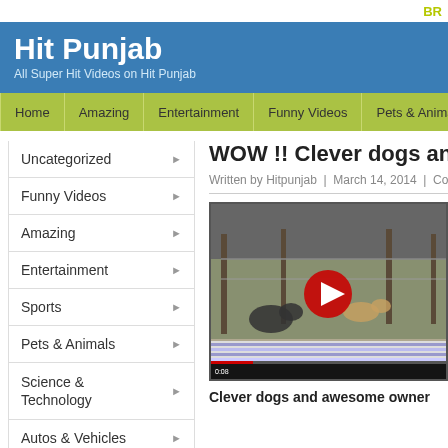BR
Hit Punjab
All Super Hit Videos on Hit Punjab
Home | Amazing | Entertainment | Funny Videos | Pets & Animals
Uncategorized
Funny Videos
Amazing
Entertainment
Sports
Pets & Animals
Science & Technology
Autos & Vehicles
WOW !! Clever dogs and awe
Written by Hitpunjab | March 14, 2014 | Comments Off o
[Figure (screenshot): YouTube video thumbnail showing dogs in an outdoor pen/yard area. Red play button in the center. Video controls visible at bottom.]
Clever dogs and awesome owner